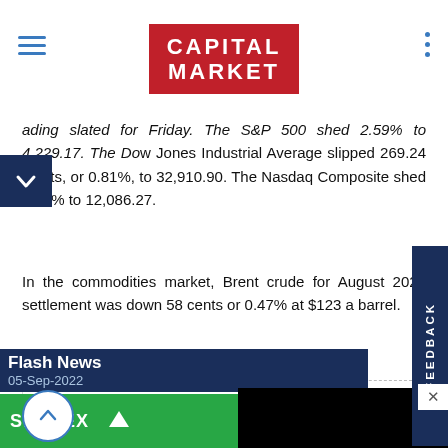CAPITAL MARKET
...ading slated for Friday. The S&P 500 shed 2.59% to 4,229.17. The Dow Jones Industrial Average slipped 269.24 points, or 0.81%, to 32,910.90. The Nasdaq Composite shed 0.73% to 12,086.27.
In the commodities market, Brent crude for August 2022 settlement was down 58 cents or 0.47% at $123 a barrel.
Back to news list
Mid Session News
Flash News
05-Sep-2022
SENSEX